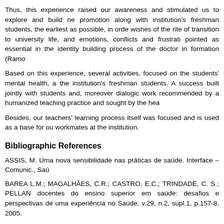Thus, this experience raised our awareness and stimulated us to explore and build ne promotion along with institution's freshman students, the earliest as possible, in orde wishes of the rite of transition to university life, and emotions, conflicts and frustrati pointed as essential in the identity building process of the doctor in formation (Ramo
Based on this experience, several activities, focused on the students' mental health, a the institution's freshman students. A success built jointly with students and, moreover dialogic work recommended by a humanized teaching practice and sought by the hea
Besides, our teachers' learning process itself was focused and is used as a base for ou workmates at the institution.
Bibliographic References
ASSIS, M. Uma nova sensibilidade nas práticas de saúde. Interface – Comunic., Saú
BAREA L.M.; MAGALHÃES, C.R.; CASTRO, E.C.; TRINDADE, C. S.; PELLAN docentes do ensino superior em saúde: desafios e perspectivas de uma experiência no Saúde, v.29, n.2, supl.1, p.157-8, 2005.
BOGDAN, R.; BIKLEN, S. Investigação qualitativa em educação: uma introdução à
FREIRE, P. Pedagogia da autonomia: saberes necessários à prática educativa. São Pa
______. A educação e o processo de mudança social. In: _______. Educação e muda
GARCIA, M.A.A. Saber, agir e educar: o ensino-aprendizagem em serviços de saúde 2001.